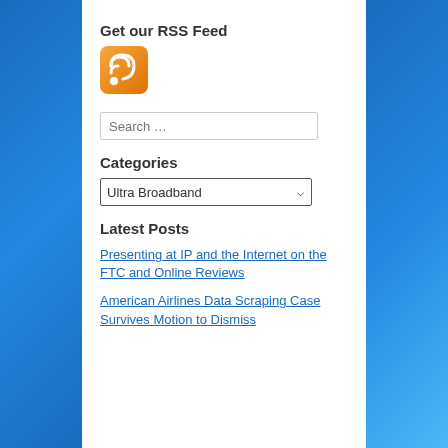Get our RSS Feed
[Figure (logo): Orange RSS feed icon with white signal waves]
Search …
Categories
Ultra Broadband
Latest Posts
Presenting at IP and the Internet on the FTC and Online Reviews
American Airlines Data Scraping Case Survives Motion to Dismiss